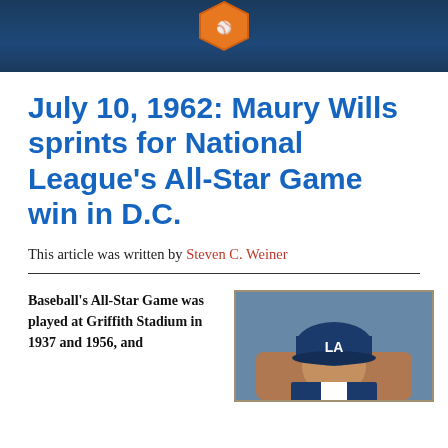[Figure (photo): Dark blue header banner with a hexagon/baseball logo shape centered at the top]
July 10, 1962: Maury Wills sprints for National League's All-Star Game win in D.C.
This article was written by Steven C. Weiner
Baseball's All-Star Game was played at Griffith Stadium in 1937 and 1956, and
[Figure (photo): Photograph of a baseball player wearing an LA Dodgers cap and uniform]